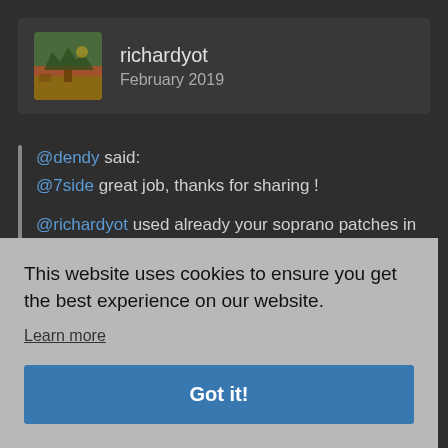[Figure (screenshot): Forum post screenshot on dark background showing user richardyot, February 2019, with a quote block containing @dendy and @7side mentions, and @richardyot reply about soprano patches]
richardyot
February 2019
@dendy said:
@7side great job, thanks for sharing !
@richardyot used already your soprano patches in both tracks on which i'm currently working, great
This website uses cookies to ensure you get the best experience on our website.
Learn more
Got it!